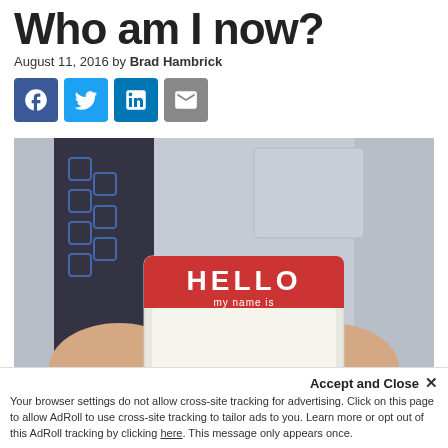Who am I now?
August 11, 2016 by Brad Hambrick
[Figure (other): Social media sharing icons: Facebook (blue), Twitter (light blue), LinkedIn (dark blue), Email (gray)]
[Figure (photo): A person in a grey shirt and dark blue patterned tie holding a 'HELLO my name is' name tag sticker against their chest.]
Accept and Close ✕
Your browser settings do not allow cross-site tracking for advertising. Click on this page to allow AdRoll to use cross-site tracking to tailor ads to you. Learn more or opt out of this AdRoll tracking by clicking here. This message only appears once.